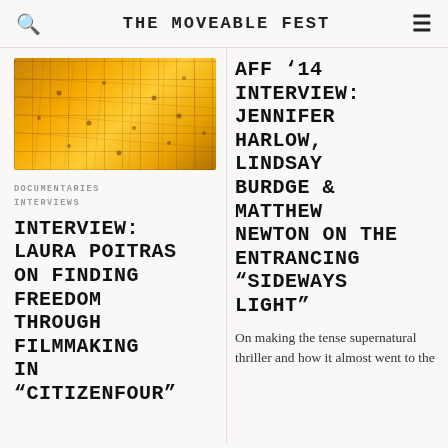THE MOVEABLE FEST
[Figure (photo): Aerial view of a golden-lit grid landscape with small objects scattered across it, warm orange and yellow tones]
DOCUMENTARIES
INTERVIEWS
INTERVIEW: LAURA POITRAS ON FINDING FREEDOM THROUGH FILMMAKING IN "CITIZENFOUR"
AFF '14 INTERVIEW: JENNIFER HARLOW, LINDSAY BURDGE & MATTHEW NEWTON ON THE ENTRANCING "SIDEWAYS LIGHT"
On making the tense supernatural thriller and how it almost went to the